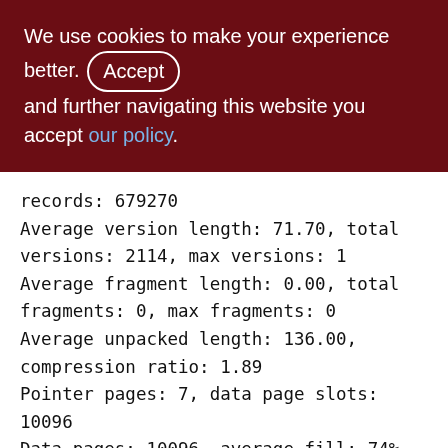We use cookies to make your experience better. By accepting and further navigating this website you accept our policy.
records: 679270
Average version length: 71.70, total versions: 2114, max versions: 1
Average fragment length: 0.00, total fragments: 0, max fragments: 0
Average unpacked length: 136.00, compression ratio: 1.89
Pointer pages: 7, data page slots: 10096
Data pages: 10096, average fill: 74%
Primary pages: 10096, secondary pages: 0, swept pages: 6568
Empty pages: 7, full pages: 8062